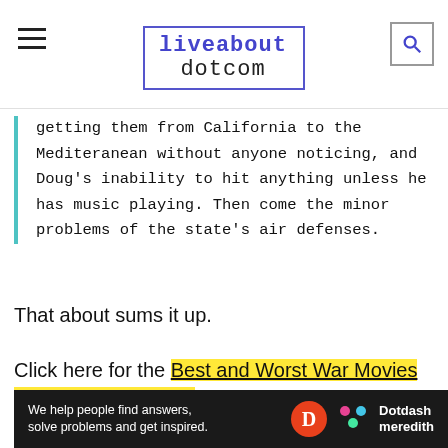liveabout dotcom
getting them from California to the Mediteranean without anyone noticing, and Doug's inability to hit anything unless he has music playing. Then come the minor problems of the state's air defenses.
That about sums it up.
Click here for the Best and Worst War Movies about Aerial Combat.
08 Delta Force (1986)